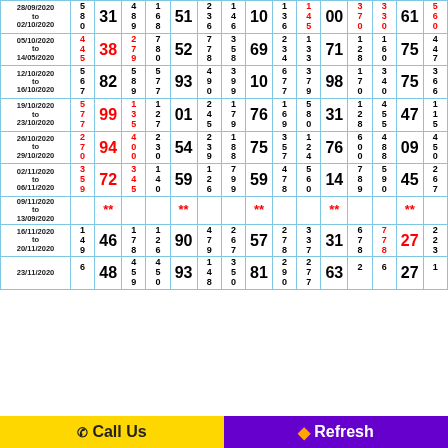| Date | Col1 | Col2 | Col3 | Mid | Col4 | Col5 | Mid2 | Col6 | Col7 | Mid3 | Col8 | Col9 | End | Last |
| --- | --- | --- | --- | --- | --- | --- | --- | --- | --- | --- | --- | --- | --- | --- |
| 28/09/2020 to 02/10/2020 | 5 8 0 | 31 | 4 8 9 | 1 6 8 | 51 | 2 3 6 | 1 4 6 | 10 | 1 3 6 | 1 4 5 | 00 | 3 7 0 | 3 3 0 | 61 | 5 6 0 |
| 05/10/2020 to 14/05/2020 | 4 4 5 | 38 | 2 7 9 | 7 8 0 | 52 | 7 7 8 | 3 5 8 | 69 | 2 3 4 | 1 3 3 | 71 | 1 2 8 | 1 6 0 | 75 | 4 4 7 |
| 12/10/2020 to 16/10/2020 | 5 6 7 | 82 | 5 8 9 | 5 7 7 | 93 | 4 9 0 | 3 9 9 | 10 | 6 7 7 | 3 7 9 | 98 | 1 7 0 | 3 4 0 | 75 | 3 6 6 |
| 19/10/2020 to 23/10/2020 | 5 7 7 | 99 | 1 3 5 | 1 2 7 | 01 | 2 4 5 | 1 7 9 | 76 | 1 6 9 | 5 8 0 | 31 | 1 2 8 | 4 5 5 | 47 | 1 1 5 |
| 26/10/2020 to 29/10/2020 | 2 7 0 | 94 | 4 0 0 | 2 3 0 | 54 | 2 3 9 | 1 8 8 | 75 | 3 5 7 | 1 2 4 | 76 | 6 0 0 | 4 8 8 | 09 | 4 5 0 |
| 02/11/2020 to 06/11/2020 | 3 5 9 | 72 | 3 4 5 | 1 4 0 | 59 | 1 2 6 | 7 9 9 | 59 | 4 7 8 | 5 6 0 | 14 | 7 8 9 | 5 9 0 | 45 | 2 6 7 |
| 09/11/2020 to 13/09/2020 |  | ** |  |  | ** |  |  | ** |  |  | ** |  |  | ** |  |
| 16/11/2020 to 20/11/2020 | 1 4 9 | 46 | 1 7 8 | 1 2 6 | 90 | 4 7 9 | 2 6 7 | 57 | 2 7 8 | 3 3 7 | 31 | 6 7 8 | 7 7 8 | 27 | 2 2 3 |
| 23/11/2020 | 6 ? | 48 | 4 5 9 | 4 5 0 | 93 | 1 4 8 | 3 5 0 | 81 | 2 9 0 | 2 7 7 | 63 | 2 ? | 6 ? | 27 | 1 ? |